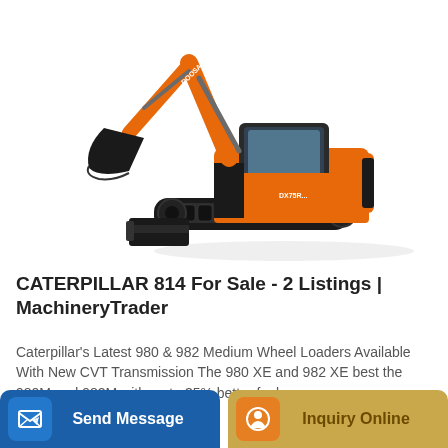[Figure (photo): Orange and black Doosan mini excavator / compact excavator on white background, shown in three-quarter view with boom arm raised and bucket lowered.]
CATERPILLAR 814 For Sale - 2 Listings | MachineryTrader
Caterpillar's Latest 980 & 982 Medium Wheel Loaders Available With New CVT Transmission The 980 XE and 982 XE best the 980M and 982M with up to 35% better fuel...
Send Message
Inquiry Online